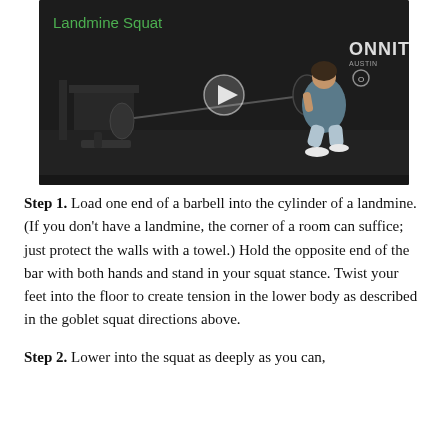[Figure (screenshot): Video thumbnail showing a woman performing a landmine squat in a gym. The video player shows 'Landmine Squat' in green text top-left, a play button in the center, and 'ONNIT AUSTIN' branding on the right. The background is dark with gym equipment visible.]
Step 1. Load one end of a barbell into the cylinder of a landmine. (If you don't have a landmine, the corner of a room can suffice; just protect the walls with a towel.) Hold the opposite end of the bar with both hands and stand in your squat stance. Twist your feet into the floor to create tension in the lower body as described in the goblet squat directions above.
Step 2. Lower into the squat as deeply as you can,